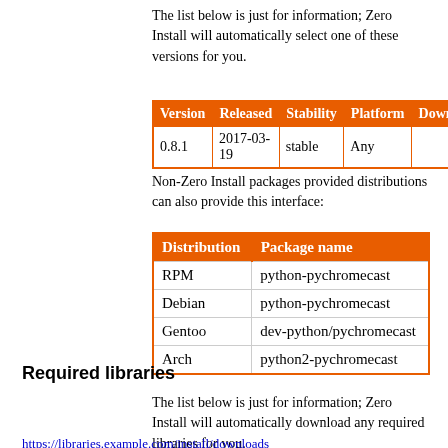The list below is just for information; Zero Install will automatically select one of these versions for you.
| Version | Released | Stability | Platform | Download |
| --- | --- | --- | --- | --- |
| 0.8.1 | 2017-03-19 | stable | Any |  |
Non-Zero Install packages provided distributions can also provide this interface:
| Distribution | Package name |
| --- | --- |
| RPM | python-pychromecast |
| Debian | python-pychromecast |
| Gentoo | dev-python/pychromecast |
| Arch | python2-pychromecast |
Required libraries
The list below is just for information; Zero Install will automatically download any required libraries for you.
https://libraries.example.com/install/downloads